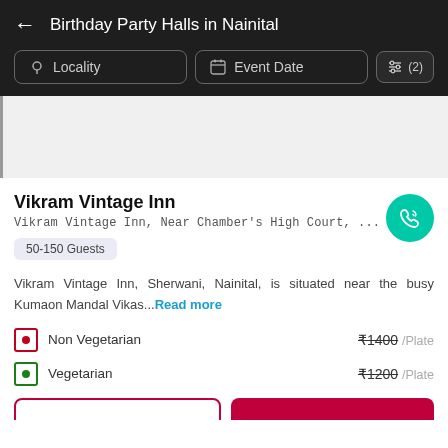Birthday Party Halls in Nainital
Locality
Event Date
(2)
[Figure (screenshot): Gray advertisement placeholder area with left dark border line]
Vikram Vintage Inn
Vikram Vintage Inn, Near Chamber's High Court, ...
50-150 Guests
Vikram Vintage Inn, Sherwani, Nainital, is situated near the busy Kumaon Mandal Vikas...Read more
Non Vegetarian  ₹1400 /Plate
Vegetarian  ₹1200 /Plate